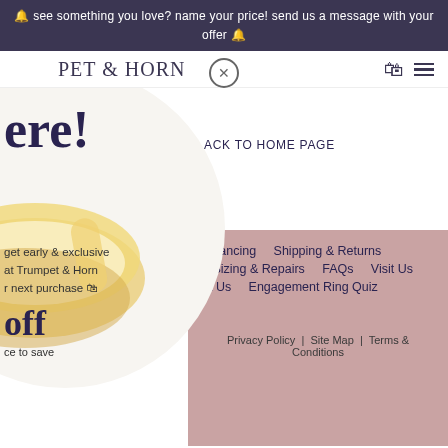🔔 see something you love? name your price! send us a message with your offer 🔔
PET & HORN
ere!
get early & exclusive
at Trumpet & Horn
r next purchase 🛍
off
ce to save
ACK TO HOME PAGE
Financing
Shipping & Returns
g Sizing & Repairs
FAQs
Visit Us
ut Us
Engagement Ring Quiz
Privacy Policy  |  Site Map  |  Terms & Conditions